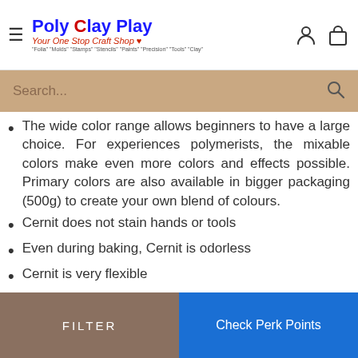Poly Clay Play — Your One Stop Craft Shop
The wide color range allows beginners to have a large choice. For experiences polymerists, the mixable colors make even more colors and effects possible. Primary colors are also available in bigger packaging (500g) to create your own blend of colours.
Cernit does not stain hands or tools
Even during baking, Cernit is odorless
Cernit is very flexible
FILTER | Check Perk Points